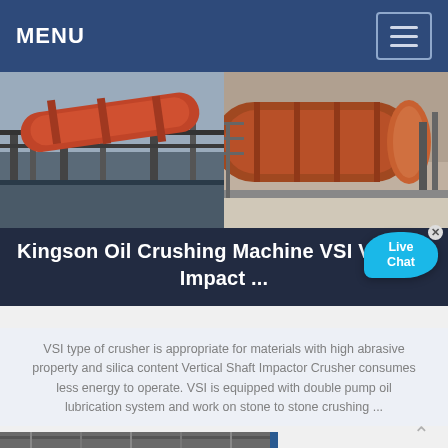MENU
[Figure (photo): Two industrial machinery photos side by side: left shows a large red rotary kiln or cylindrical drum on an elevated structure; right shows large industrial cylindrical grinding or ball mill equipment in a facility]
Kingson Oil Crushing Machine VSI Vertical Impact ...
VSI type of crusher is appropriate for materials with high abrasive property and silica content Vertical Shaft Impactor Crusher consumes less energy to operate. VSI is equipped with double pump oil lubrication system and work on stone to stone crushing ...
[Figure (photo): Bottom partial photo strip showing industrial equipment or machinery, partially visible]